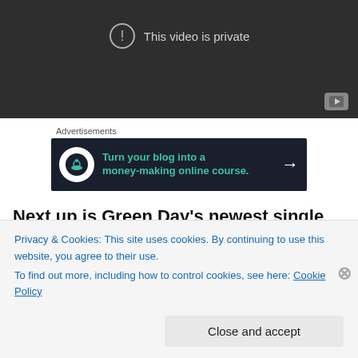[Figure (screenshot): YouTube-style video player showing 'This video is private' message with exclamation mark icon and YouTube button in bottom right corner.]
Advertisements
[Figure (other): Advertisement banner: dark background with bonsai tree logo circle, teal text 'Turn your blog into a money-making online course.' and white arrow.]
Next up is Green Day's newest single from a surprise
show they did in Austin earlier this year. I love seeing the
Privacy & Cookies: This site uses cookies. By continuing to use this website, you agree to their use.
To find out more, including how to control cookies, see here: Cookie Policy
Close and accept